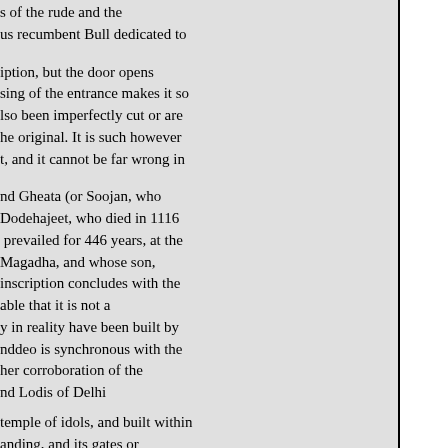s of the rude and the
us recumbent Bull dedicated to
iption, but the door opens
sing of the entrance makes it so
lso been imperfectly cut or are
he original. It is such however
t, and it cannot be far wrong in
nd Gheata (or Soojan, who
Dodehajeet, who died in 1116
 prevailed for 446 years, at the
Magadha, and whose son,
inscription concludes with the
able that it is not a
y in reality have been built by
nddeo is synchronous with the
her corroboration of the
nd Lodis of Delhi
temple of idols, and built within
anding, and its gates or
hin a dozen yards of the back of
 t that the mosque was built in